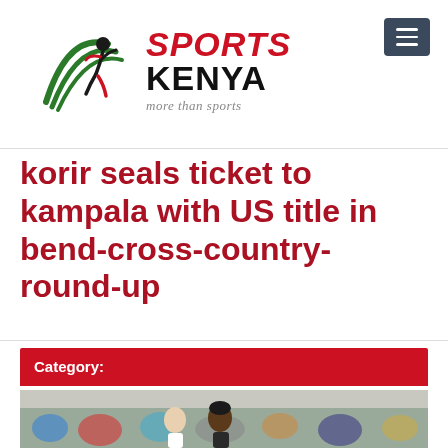[Figure (logo): Sports Kenya logo with stylized running figure, green swooshes, red text 'SPORTS' italic, black text 'KENYA', tagline 'more than sports']
korir seals ticket to kampala with US title in bend-cross-country-round-up
Category:
[Figure (photo): Photo showing runners at a cross-country race, partially visible at bottom of page]